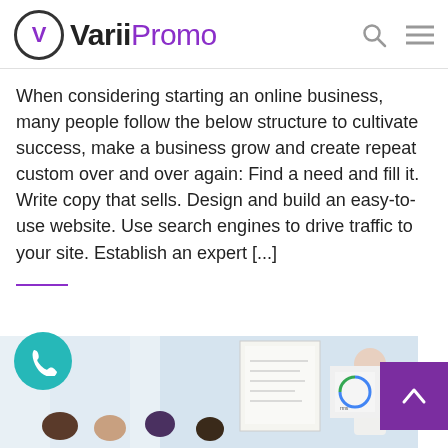Varii Promo
When considering starting an online business, many people follow the below structure to cultivate success, make a business grow and create repeat custom over and over again: Find a need and fill it. Write copy that sells. Design and build an easy-to-use website. Use search engines to drive traffic to your site. Establish an expert [...]
[Figure (photo): Photo of a business presentation scene: a woman presenting at a whiteboard/flip chart to seated attendees in a bright room.]